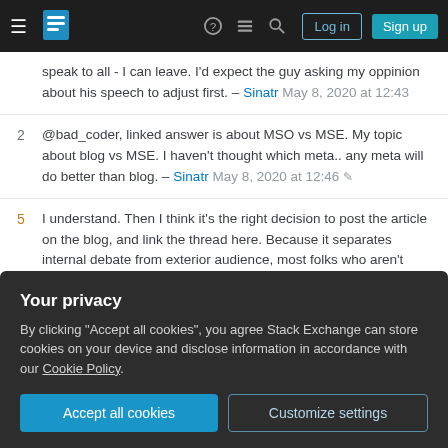Stack Exchange navigation bar with hamburger menu, logo, help, chat, search icons, Log in and Sign up buttons
speak to all - I can leave. I'd expect the guy asking my oppinion about his speech to adjust first. – Sinatr May 8, 2020 at 12:43
2  @bad_coder, linked answer is about MSO vs MSE. My topic about blog vs MSE. I haven't thought which meta.. any meta will do better than blog. – Sinatr May 8, 2020 at 12:46
5  I understand. Then I think it's the right decision to post the article on the blog, and link the thread here. Because it separates internal debate from exterior audience, most folks who aren't members wouldn't understand "how things go" in here. I've been a
Your privacy
By clicking "Accept all cookies", you agree Stack Exchange can store cookies on your device and disclose information in accordance with our Cookie Policy.
Accept all cookies
Customize settings